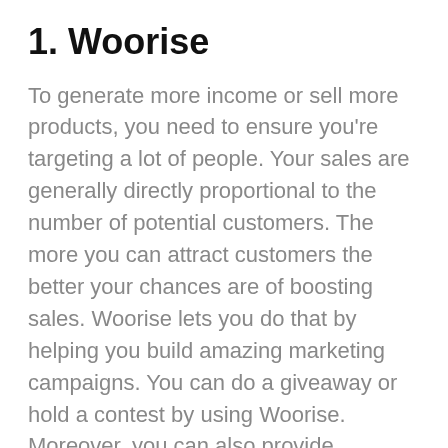1. Woorise
To generate more income or sell more products, you need to ensure you're targeting a lot of people. Your sales are generally directly proportional to the number of potential customers. The more you can attract customers the better your chances are of boosting sales. Woorise lets you do that by helping you build amazing marketing campaigns. You can do a giveaway or hold a contest by using Woorise. Moreover, you can also provide coupons and offer discounts to your visitors. This way the more visitors you turn into customers, the more your businesses will flourish.
2. Mailchimp
You can add links below so they become anchors...